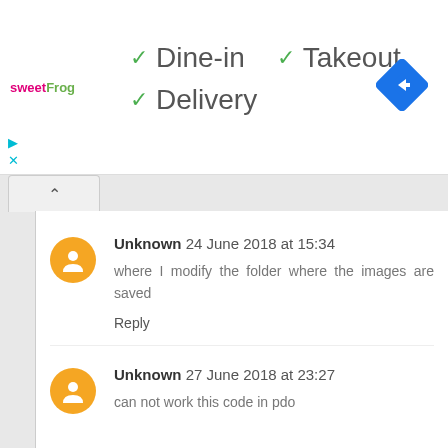[Figure (screenshot): sweetFrog logo in top left of banner ad]
✓ Dine-in
✓ Takeout
✓ Delivery
[Figure (infographic): Blue diamond-shaped navigation/directions icon in top right]
Unknown 24 June 2018 at 15:34
where I modify the folder where the images are saved
Reply
Unknown 27 June 2018 at 23:27
can not work this code in pdo